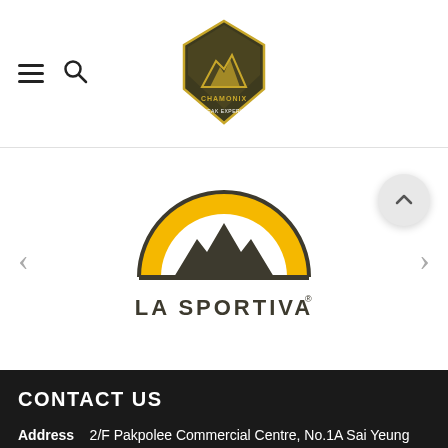[Figure (logo): Chamonix outdoor store logo — diamond shield shape with mountain and bear/yeti figure, dark olive/brown and yellow colors]
[Figure (logo): La Sportiva logo — golden yellow semicircle with dark mountain peaks silhouette inside, text 'LA SPORTIVA' in dark gray bold uppercase below]
CONTACT US
Address    2/F Pakpolee Commercial Centre, No.1A Sai Yeung Choi Street South, Mongkok, Kowloon. || Mongkok MTR (Bank Centre Exit E2) / Yau Ma Tei MTR station A2 Exit.